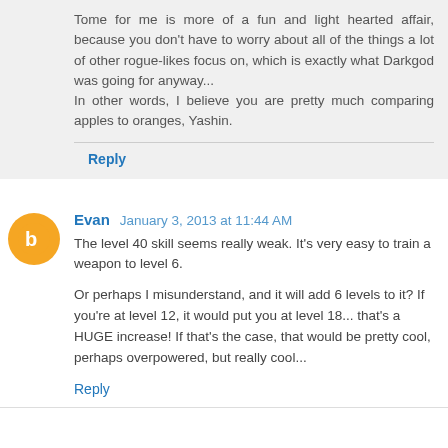Tome for me is more of a fun and light hearted affair, because you don't have to worry about all of the things a lot of other rogue-likes focus on, which is exactly what Darkgod was going for anyway... In other words, I believe you are pretty much comparing apples to oranges, Yashin.
Reply
Evan  January 3, 2013 at 11:44 AM
The level 40 skill seems really weak. It's very easy to train a weapon to level 6.
Or perhaps I misunderstand, and it will add 6 levels to it? If you're at level 12, it would put you at level 18... that's a HUGE increase! If that's the case, that would be pretty cool, perhaps overpowered, but really cool...
Reply